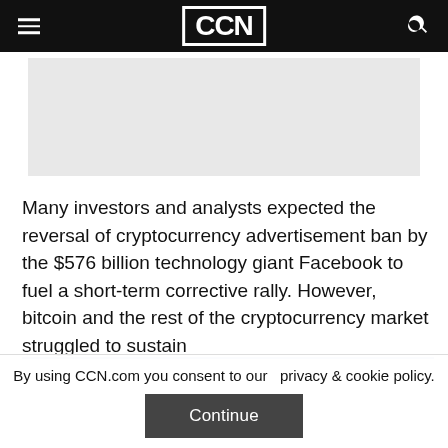CCN
[Figure (other): Advertisement placeholder box, light gray background]
Many investors and analysts expected the reversal of cryptocurrency advertisement ban by the $576 billion technology giant Facebook to fuel a short-term corrective rally. However, bitcoin and the rest of the cryptocurrency market struggled to sustain
By using CCN.com you consent to our  privacy & cookie policy.
Continue